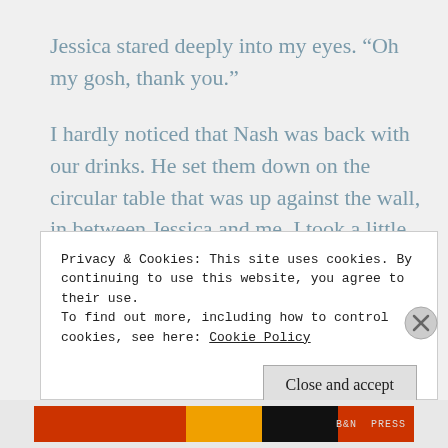Jessica stared deeply into my eyes. “Oh my gosh, thank you.”
I hardly noticed that Nash was back with our drinks. He set them down on the circular table that was up against the wall, in between Jessica and me. I took a little sip. Warm and flat.
Privacy & Cookies: This site uses cookies. By continuing to use this website, you agree to their use.
To find out more, including how to control cookies, see here: Cookie Policy
Close and accept